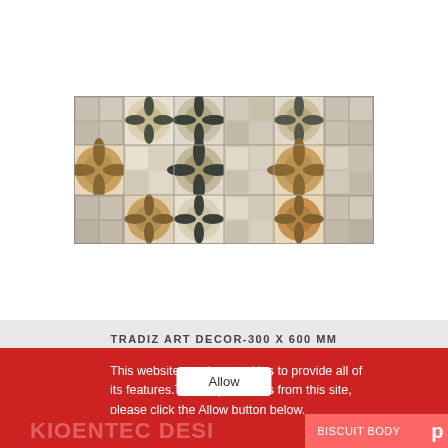[Figure (photo): Decorative ceramic wall tile pattern showing repeated floral/geometric medallion motifs in beige, gold, brown, and gray tones arranged in a grid. Circles with four-pointed star/leaf shapes at intersections, square mosaic tiles in corners.]
TRADIZ ART DECOR-300 X 600 MM
This website requires cookies to provide all of its features.To accept cookies from this site, please click the Allow button below.
Allow